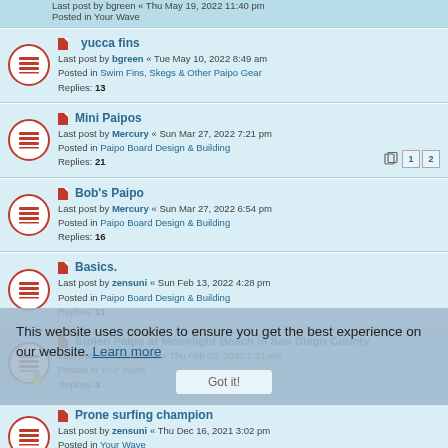Last post by bgreen « Thu May 19, 2022 11:40 pm
Posted in Your Wave
yucca fins
Last post by bgreen « Tue May 10, 2022 8:49 am
Posted in Swim Fins, Skegs & Other Paipo Gear
Replies: 13
Mini Paipos
Last post by Mercury « Sun Mar 27, 2022 7:21 pm
Posted in Paipo Board Design & Building
Replies: 21
Bob's Paipo
Last post by Mercury « Sun Mar 27, 2022 6:54 pm
Posted in Paipo Board Design & Building
Replies: 16
Basics.
Last post by zensuni « Sun Feb 13, 2022 4:28 pm
Posted in Paipo Board Design & Building
Replies: 11
Stolen Paipo at Moonlight Beach in San Diego County
Last post by rodndtube « Thu Feb 03, 2022 1:31 am
Posted in Your Wave
Replies: 3
Prone surfing champion
Last post by zensuni « Thu Dec 16, 2021 3:02 pm
Posted in Your Wave
Replies: 2
Parabolic Rails
Last post by Thumper « Thu Dec 02, 2021 4:00 am
Posted in Paipo Board Design & Building
This website uses cookies to ensure you get the best experience on our website. Learn more
Got it!